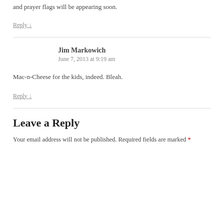and prayer flags will be appearing soon.
Reply ↓
Jim Markowich
June 7, 2013 at 9:19 am
Mac-n-Cheese for the kids, indeed. Bleah.
Reply ↓
Leave a Reply
Your email address will not be published. Required fields are marked *